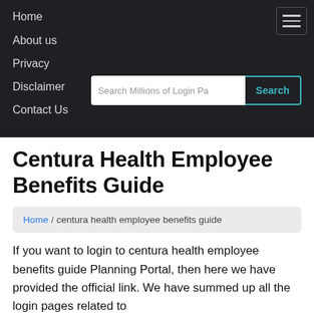Home
About us
Privacy
Disclaimer
Contact Us
Centura Health Employee Benefits Guide
Home / centura health employee benefits guide
If you want to login to centura health employee benefits guide Planning Portal, then here we have provided the official link. We have summed up all the login pages related to